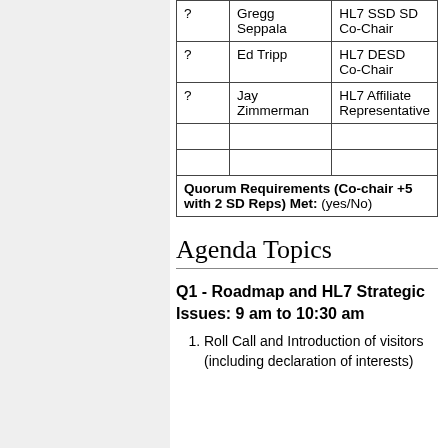|  | Name | Role |
| --- | --- | --- |
| ? | Gregg Seppala | HL7 SSD SD Co-Chair |
| ? | Ed Tripp | HL7 DESD Co-Chair |
| ? | Jay Zimmerman | HL7 Affiliate Representative |
|  |  |  |
|  |  |  |
Quorum Requirements (Co-chair +5 with 2 SD Reps) Met: (yes/No)
Agenda Topics
Q1 - Roadmap and HL7 Strategic Issues: 9 am to 10:30 am
Roll Call and Introduction of visitors (including declaration of interests)